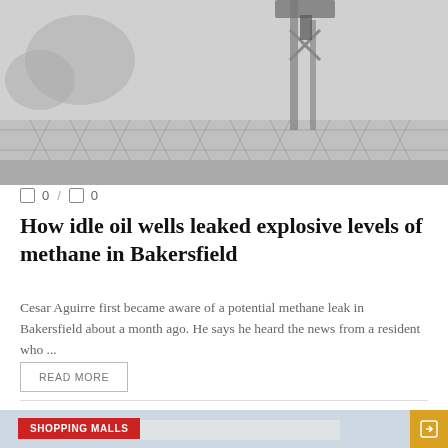[Figure (photo): Grayscale photo of an oil well or industrial structure with chains/fencing visible against a misty sky with trees in the background]
0 / 0
How idle oil wells leaked explosive levels of methane in Bakersfield
Cesar Aguirre first became aware of a potential methane leak in Bakersfield about a month ago. He says he heard the news from a resident who ...
READ MORE
[Figure (photo): Partial photo of a shopping mall building with a red label badge reading SHOPPING MALLS and an orange navigation arrow in the bottom right]